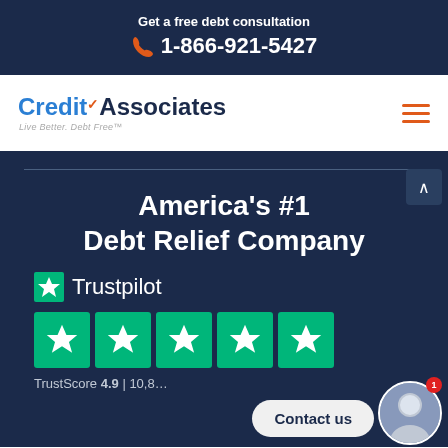Get a free debt consultation
1-866-921-5427
[Figure (logo): CreditAssociates logo with tagline 'Live Better. Debt Free']
America's #1
Debt Relief Company
[Figure (logo): Trustpilot logo with green star icon and five green star rating boxes. TrustScore 4.9 | 10,8... reviews]
TrustScore 4.9 | 10,8...